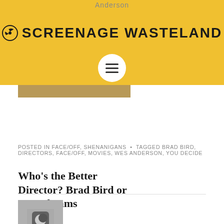Anderson
SCREENAGE WASTELAND
[Figure (photo): Article thumbnail image with yellowish overlay showing a person at a desk]
Who's the Better Director? Brad Bird or J. J. Abrams
POSTED IN FACE/OFF, SHENANIGANS • TAGGED BRAD BIRD, DIRECTORS, FACE/OFF, MOVIES, WES ANDERSON, YOU DECIDE
[Figure (photo): Author avatar thumbnail showing a person in a red jacket with a moon/crescent icon overlaid]